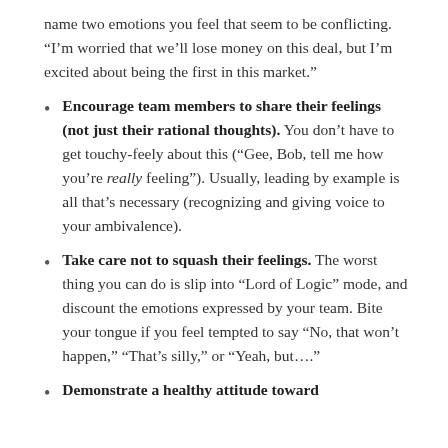name two emotions you feel that seem to be conflicting. “I’m worried that we’ll lose money on this deal, but I’m excited about being the first in this market.”
Encourage team members to share their feelings (not just their rational thoughts). You don’t have to get touchy-feely about this (“Gee, Bob, tell me how you’re really feeling”). Usually, leading by example is all that’s necessary (recognizing and giving voice to your ambivalence).
Take care not to squash their feelings. The worst thing you can do is slip into “Lord of Logic” mode, and discount the emotions expressed by your team. Bite your tongue if you feel tempted to say “No, that won’t happen,” “That’s silly,” or “Yeah, but….”
Demonstrate a healthy attitude toward...